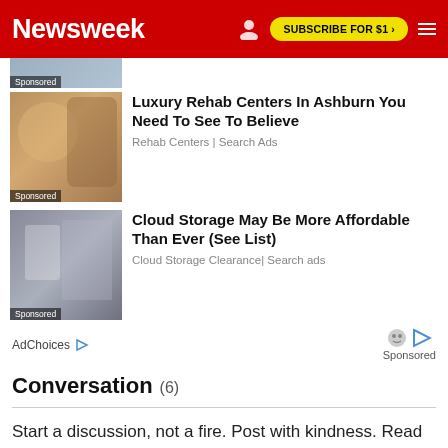Newsweek | SUBSCRIBE FOR $1 >
[Figure (photo): Partial sponsored thumbnail at top (cropped)]
[Figure (photo): Woman with horse, sponsored ad thumbnail]
Luxury Rehab Centers In Ashburn You Need To See To Believe
Rehab Centers | Search Ads
[Figure (photo): Woman with laptop near server racks, sponsored ad thumbnail]
Cloud Storage May Be More Affordable Than Ever (See List)
Cloud Storage Clearance| Search ads
AdChoices ▷
Sponsored
Conversation (6)
Start a discussion, not a fire. Post with kindness. Read our guidelines here.